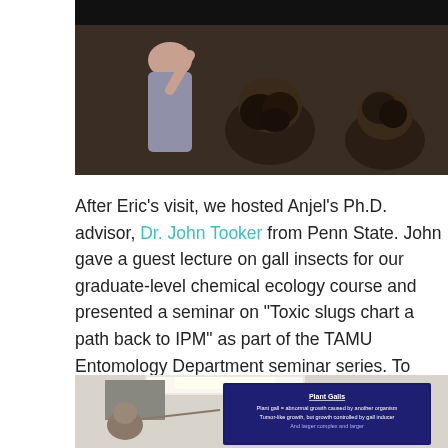[Figure (photo): Photo of people in a lecture or gathering setting, viewed from behind, with dark background]
After Eric’s visit, we hosted Anjel’s Ph.D. advisor, Dr. John Tooker from Penn State. John gave a guest lecture on gall insects for our graduate-level chemical ecology course and presented a seminar on “Toxic slugs chart a path back to IPM” as part of the TAMU Entomology Department seminar series. To thank John and give him a proper Texas welcome, we hosted a reception complete with smoked pork and brisket and put him to work hanging up lights around the yard.
[Figure (photo): Photo of a lecture room with a projection screen showing a slide about Plant Galls, with a person presenting]